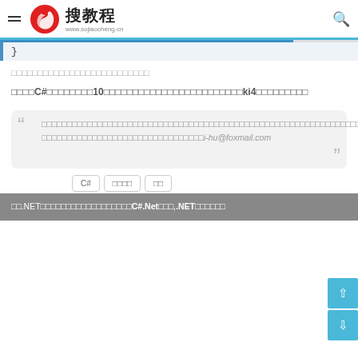搜教程 www.sojiaocheng.cn
}
□□□□□□□□□□□□□□□□□□□□□□□□□□
□□□□C#□□□□□□□□10□□□□□□□□□□□□□□□□□□□□□□ki4□□□□□□□□□
□□□□□□□□□□□□□□□□□□□□□□□□□□□□□□□□□□□□□□□□□□□□□□□□□□□□□□□□□□□□□□□□□□□□□□□□□□□□□□□□□□□□□□□□□□□□□□□□□□□□□□□□□□□□□□□□□□□□□□□□□□□□□□□□□□□□□□□□□□□□□□□□□□□□□□□□□□□□□□□□□i-hu@foxmail.com
C#
□□□□
□□
□□   □□
□□.NET□□□□□□□□□□□□□□□□□□C#.Net□□□,.NET□□□□□□